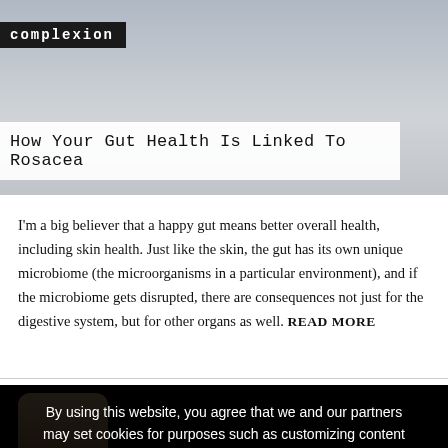[Figure (photo): Background photo of a person wearing gray clothing, cropped to show midsection/chest area, serving as header image for article]
complexion
How Your Gut Health Is Linked To Rosacea
I'm a big believer that a happy gut means better overall health, including skin health. Just like the skin, the gut has its own unique microbiome (the microorganisms in a particular environment), and if the microbiome gets disrupted, there are consequences not just for the digestive system, but for other organs as well. READ MORE
[Figure (photo): Photo of a female doctor or medical professional wearing a white coat, inset in the bottom black section of the page]
By using this website, you agree that we and our partners may set cookies for purposes such as customizing content and advertising. I Understand